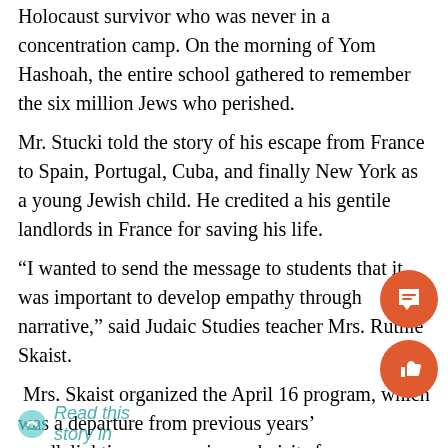Holocaust survivor who was never in a concentration camp. On the morning of Yom Hashoah, the entire school gathered to remember the six million Jews who perished.
Mr. Stucki told the story of his escape from France to Spain, Portugal, Cuba, and finally New York as a young Jewish child. He credited a his gentile landlords in France for saving his life.
“I wanted to send the message to students that it was important to develop empathy through narrative,” said Judaic Studies teacher Mrs. Ruthie Skaist.
Mrs. Skaist organized the April 16 program, which was a departure from previous years’ candlelighting ceremonies and visits from concentration camp survivors.